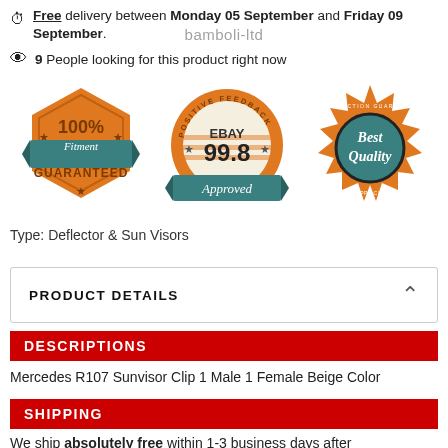Free delivery between Monday 05 September and Friday 09 September.
bamboli-ltd
9 People looking for this product right now
[Figure (illustration): Three trust badges: 100% Fitment Guaranteed (orange hexagon with teal banner), eBay 99.8 Positive Feedback Approved (orange scallop with teal banner), Best Quality Satisfaction Guaranteed (orange starburst with teal circle)]
Type: Deflector & Sun Visors
PRODUCT DETAILS
DESCRIPTIONS
Mercedes R107 Sunvisor Clip 1 Male 1 Female Beige Color
SHIPPING
We ship absolutely free within 1-3 business days after